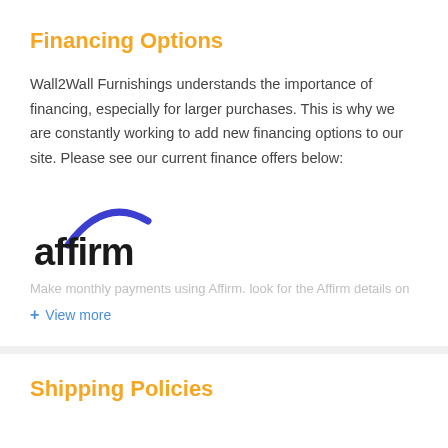Financing Options
Wall2Wall Furnishings understands the importance of financing, especially for larger purchases. This is why we are constantly working to add new financing options to our site. Please see our current finance offers below:
[Figure (logo): Affirm logo with blue arc above the text 'affirm' in bold black lowercase letters]
Make monthly payments using Affirm. look for the Affirm details on
+ View more
Shipping Policies